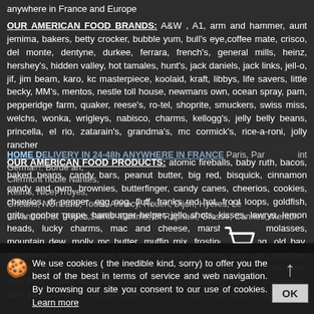anywhere in France and Europe
OUR AMERICAN FOOD BRANDS: A&W , A1, arm and hammer, aunt jemima, bakers, betty crocker, bubble yum, bull's eye,coffee mate, crisco, del monte, dentyne, durkee, ferrara, french's, general mills, heinz, hershey's, hidden valley, hot tamales, hunt's, jack daniels, jack links, jell-o, jif, jim beam, karo, kc masterpiece, koolaid, kraft, libbys, life savers, little becky, MM's, mentos, nestle toll house, newmans own, ocean spray, pam, pepperidge farm, quaker, reese's, ro-tel, shoprite, smuckers, swiss miss, welchs, wonka, wrigleys, nabisco, charms, kellogg's, jelly belly beans, princella, el rio, zatarain's, grandma's, mc cormick's, rice-a-roni, jolly rancher
OUR AMERICAN FOOD PRODUCTS: atomic fireballs, baby ruth, bacos, baked beans, candy bars, peanut butter, big red, bisquick, cinnamon candy and gum, brownies, butterfinger, candy canes, cheerios, cookies, cheerios, dr pepper, egg nog, fluff, franks red hot, froot loops, goldfish, grits, goober grape, hamburger helper, jello shots, kisses, lawrys, lemon heads, lucky charms, mac and cheese, marshmallows, molasses, mountain dew, molly mc butter, muffin mix, frosting and icing, old bay, cookies N cream, oatmeal, pa yday, pickles, pop-tarts, pop corn, pancake mix and syrup, red hors reese's cups, refried beans, relish, rotel, root beer, salad dressing, barbe ce, cranberry sauce, shortening, corn syrup, tootsie, twizzlers, beef je ka nerds, yellow mustard
HOME DELIVERY IN 24-48h ANYWHERE IN FRANCE: Paris, Par int German Borde an, Clermont noble Nantes, Reims, Nice, Troyes, Orleans, Orleans, Tours, Annecy, Rouen, Dijon, Hyeres, Le Lavandon, St Tropez, Sainte Maxime, St Raphael, Grasse, Cannes, Menton
We use cookies ( the inedible kind, sorry) to offer you the best of the best in terms of service and web navigation. By browsing our site you consent to our use of cookies. Learn more